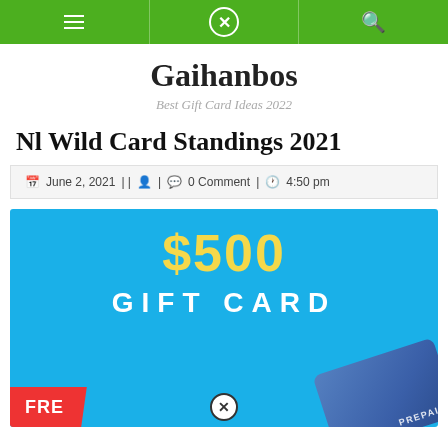Navigation bar with menu, close, and search icons
Gaihanbos
Best Gift Card Ideas 2022
Nl Wild Card Standings 2021
June 2, 2021 | | 0 Comment | 4:50 pm
[Figure (illustration): $500 Gift Card promotional image with blue background, yellow $500 text, white GIFT CARD text, a red FREE tag at bottom left, and a prepaid blue card at bottom right]